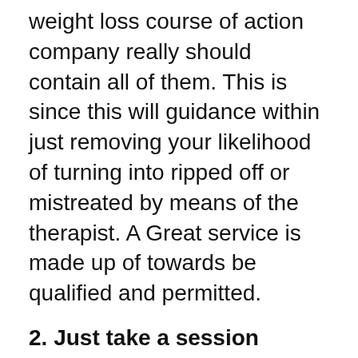weight loss course of action company really should contain all of them. This is since this will guidance within just removing your likelihood of turning into ripped off or mistreated by means of the therapist. A Great service is made up of towards be qualified and permitted.
2. Just take a session ahead of taking started out
It is considerable towards choose a session with a well-informed in advance of getting to be begun upon your process software program. The therapist ought to be in a position in the direction of resolution all your concerns, and if he is not ready in the direction of do it then it is a indicator that by yourself are not upon the immediately issue.